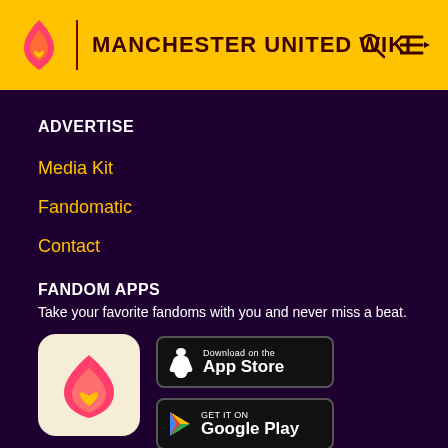MANCHESTER UNITED WIKI
ADVERTISE
Media Kit
Fandomatic
Contact
FANDOM APPS
Take your favorite fandoms with you and never miss a beat.
[Figure (logo): Fandom app icon: red/pink flame with yellow heart on beige background]
[Figure (screenshot): Download on the App Store button]
[Figure (screenshot): Get it on Google Play button]